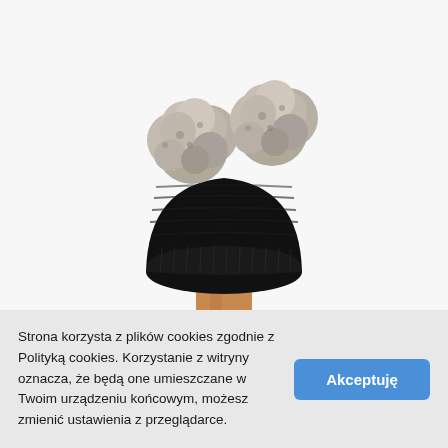[Figure (photo): A black knitted winter beanie hat with two grey fur pom-poms on top, displayed on a wooden mannequin head stand against a white background.]
Strona korzysta z plików cookies zgodnie z Polityką cookies. Korzystanie z witryny oznacza, że będą one umieszczane w Twoim urządzeniu końcowym, możesz zmienić ustawienia z przeglądarce.